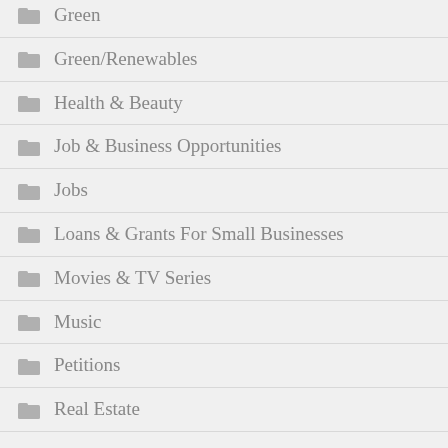Green
Green/Renewables
Health & Beauty
Job & Business Opportunities
Jobs
Loans & Grants For Small Businesses
Movies & TV Series
Music
Petitions
Real Estate